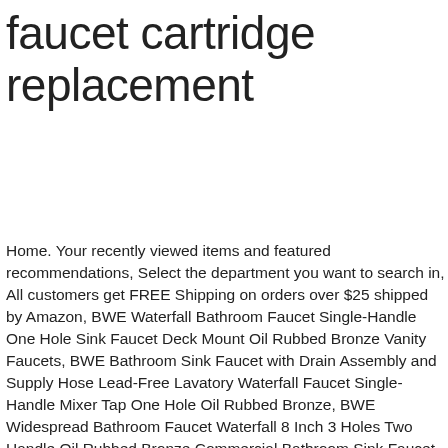faucet cartridge replacement
Home. Your recently viewed items and featured recommendations, Select the department you want to search in, All customers get FREE Shipping on orders over $25 shipped by Amazon, BWE Waterfall Bathroom Faucet Single-Handle One Hole Sink Faucet Deck Mount Oil Rubbed Bronze Vanity Faucets, BWE Bathroom Sink Faucet with Drain Assembly and Supply Hose Lead-Free Lavatory Waterfall Faucet Single-Handle Mixer Tap One Hole Oil Rubbed Bronze, BWE Widespread Bathroom Faucet Waterfall 8 Inch 3 Holes Two Handle Oil Rubbed Bronze Commercial Bathroom Sink Faucet Lavatory, Delta Faucet RP47422 , Two Handle Ceramic Stem Cartridge for (Pair), FREE Shipping on orders over $25 shipped by Amazon, Pfister 974-0740 25mm Cartridge Sub Assembly, Moen 1224 Replacement Faucet Cartridge Kit Fits Most Double Handle Moen Faucets and Tub or Showers 3 Pack, Essential Values Single Handle Valve Cartridge (#RP50587) – Aftermarket Replacement for Delta Faucets kitchen| Kitchen Faucet Repair Kit - Made from the Markets Finest Metals & Plastics, American Standard 994053-0070A Bath & Kitchen Faucet